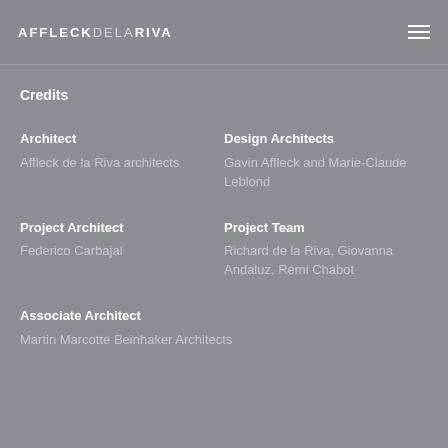AFFLECKDELARIVA
Credits
Architect
Affleck de la Riva architects
Design Architects
Gavin Affleck and Marie-Claude Leblond
Project Architect
Federico Carbajal
Project Team
Richard de la Riva, Giovanna Andaluz, Rémi Chabot
Associate Architect
Martin Marcotte Beinhaker Architects